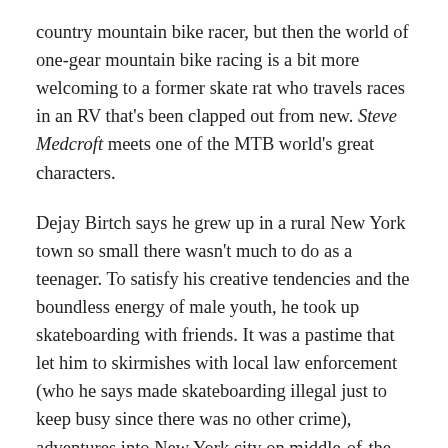country mountain bike racer, but then the world of one-gear mountain bike racing is a bit more welcoming to a former skate rat who travels races in an RV that's been clapped out from new. Steve Medcroft meets one of the MTB world's great characters.
Dejay Birtch says he grew up in a rural New York town so small there wasn't much to do as a teenager. To satisfy his creative tendencies and the boundless energy of male youth, he took up skateboarding with friends. It was a pastime that let him to skirmishes with local law enforcement (who he says made skateboarding illegal just to keep busy since there was no other crime), adventures into New York city on middle-of-the-night urban jungle skating rampages and, ultimately, to Tucson, Arizona.